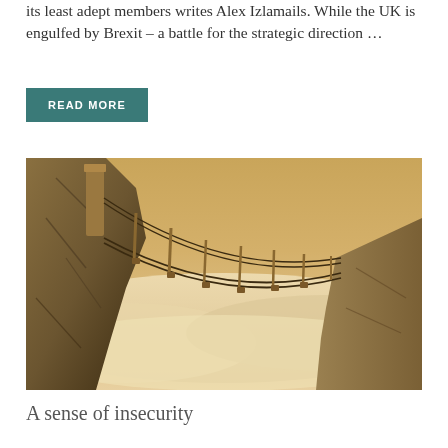its least adept members writes Alex Izlamails. While the UK is engulfed by Brexit – a battle for the strategic direction ...
READ MORE
[Figure (photo): A rope suspension bridge stretching between two rocky cliff faces above a sea of clouds, with a warm golden/sepia tone atmosphere.]
A sense of insecurity